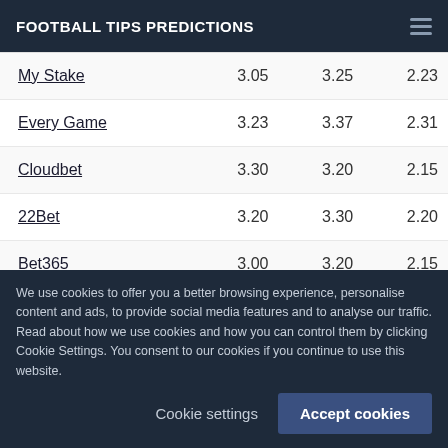FOOTBALL TIPS PREDICTIONS
|  |  |  |  |
| --- | --- | --- | --- |
| My Stake | 3.05 | 3.25 | 2.23 |
| Every Game | 3.23 | 3.37 | 2.31 |
| Cloudbet | 3.30 | 3.20 | 2.15 |
| 22Bet | 3.20 | 3.30 | 2.20 |
| Bet365 | 3.00 | 3.20 | 2.15 |
| BetOnline | 3.11 | 3.11 | 2.14 |
We use cookies to offer you a better browsing experience, personalise content and ads, to provide social media features and to analyse our traffic. Read about how we use cookies and how you can control them by clicking Cookie Settings. You consent to our cookies if you continue to use this website.
Cookie settings
Accept cookies